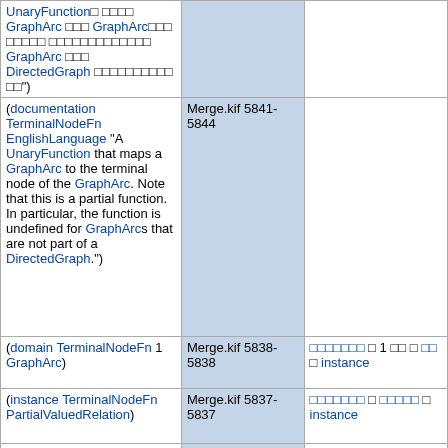| UnaryFunction□ □□□□ GraphArc □□□ GraphArc□□□ □□□□□ □□□□□□□□□□□□□ GraphArc □□□ DirectedGraph □□□□□□□□□□ □□") |  |  |
| (documentation TerminalNodeFn EnglishLanguage "A UnaryFunction that maps a GraphArc to the terminal node of the GraphArc. Note that this is a partial function. In particular, the function is undefined for GraphArcs that are not part of a DirectedGraph.") | Merge.kif 5841-5844 |  |
| (domain TerminalNodeFn 1 GraphArc) | Merge.kif 5838-5838 | □□□□□□□ □ 1 □□ □ □□ □ instance |
| (instance TerminalNodeFn PartialValuedRelation) | Merge.kif 5837-5837 | □□□□□□□ □ □□□□□ □ instance |
| (instance TerminalNodeFn UnaryFunction) | Merge.kif 5836-5836 | □□□□□□□ □ □□□□ □ instance |